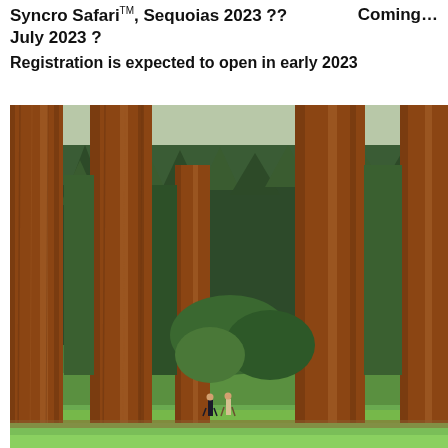Syncro Safari™, Sequoias 2023 ??   Coming… July 2023 ?
Registration is expected to open in early 2023
[Figure (photo): Photograph of giant sequoia trees with two small people walking among them on a grassy forest floor, illustrating the massive scale of the sequoia forest.]